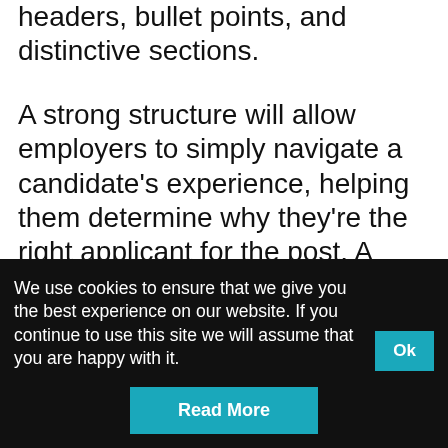headers, bullet points, and distinctive sections.
A strong structure will allow employers to simply navigate a candidate's experience, helping them determine why they're the right applicant for the post. A cluttered or messy structure will only distract employers' attention, causing them to miss critical information.
We use cookies to ensure that we give you the best experience on our website. If you continue to use this site we will assume that you are happy with it.